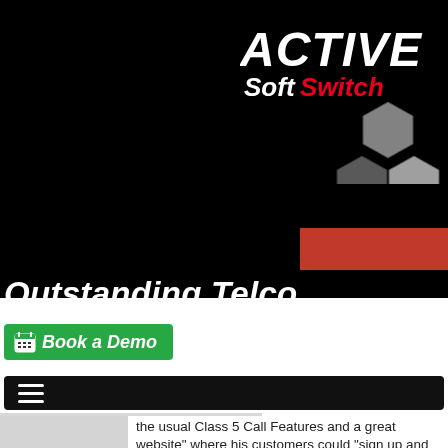[Figure (logo): Active SoftSwitch logo with white ACTIVE text in italic bold and red SoftSwitch text, with hexagon graphic elements on black background]
Outstanding Telco Software
[Figure (other): Green Book a Demo button with calendar icon]
[Figure (other): Navigation hamburger menu bar]
the usual Class 5 Call Features and a great website" where his customers could "sign up and manage their own services".
Alex turned out to be very good at knowing what his customers wanted.
He used Active SoftSwitch Enterprise with great content management.
His customers love his service and Alex upgraded.